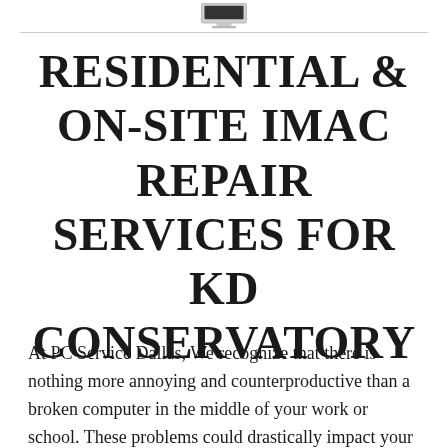[Figure (illustration): Partial image of an iMac computer visible at the top of the page, cropped at the bottom edge]
RESIDENTIAL & ON-SITE IMAC REPAIR SERVICES FOR KD CONSERVATORY
At PC Service Dallas, We recognize that there is nothing more annoying and counterproductive than a broken computer in the middle of your work or school. These problems could drastically impact your